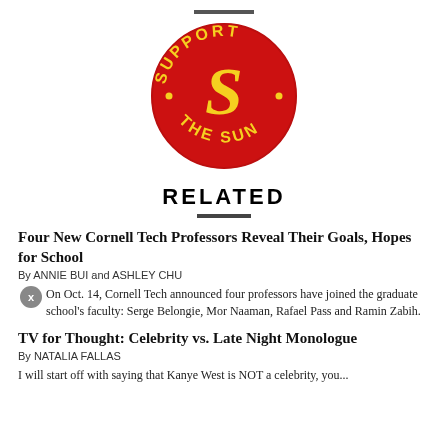[Figure (logo): Support The Sun circular logo — red circle with yellow gothic letter S in center, yellow text reading SUPPORT around the top arc and THE SUN around the bottom arc, small dots on the sides]
RELATED
Four New Cornell Tech Professors Reveal Their Goals, Hopes for School
By ANNIE BUI and ASHLEY CHU
On Oct. 14, Cornell Tech announced four professors have joined the graduate school's faculty: Serge Belongie, Mor Naaman, Rafael Pass and Ramin Zabih.
TV for Thought: Celebrity vs. Late Night Monologue
By NATALIA FALLAS
I will start off with saying that Kanye West is NOT a celebrity, you...